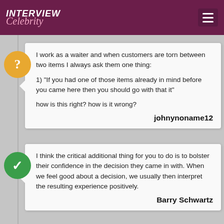INTERVIEW Celebrity
I work as a waiter and when customers are torn between two items I always ask them one thing:
1) "If you had one of those items already in mind before you came here then you should go with that it"
how is this right? how is it wrong?
johnynoname12
I think the critical additional thing for you to do is to bolster their confidence in the decision they came in with. When we feel good about a decision, we usually then interpret the resulting experience positively.
Barry Schwartz